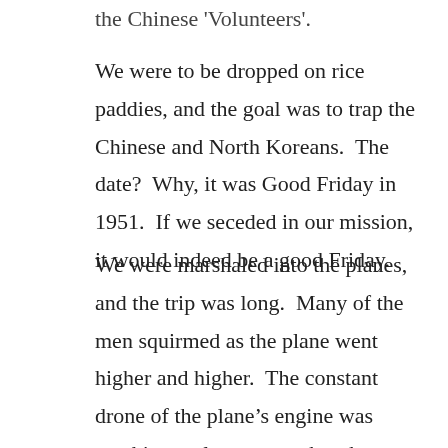the Chinese 'Volunteers'.
We were to be dropped on rice paddies, and the goal was to trap the Chinese and North Koreans.  The date?  Why, it was Good Friday in 1951.  If we seceded in our mission, it would indeed be a good Friday.
We were marshaled into the planes, and the trip was long.  Many of the men squirmed as the plane went higher and higher.  The constant drone of the plane’s engine was soothing, at least to me, but the altitude was making my ears to pop.